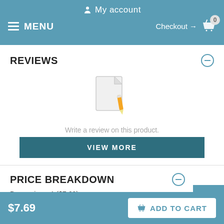My account
MENU  Checkout → 0
REVIEWS
[Figure (illustration): Document with pencil icon indicating write a review]
Write a review on this product.
VIEW MORE
PRICE BREAKDOWN
Base price x 1 ($7.69)
$7.69
ADD TO CART